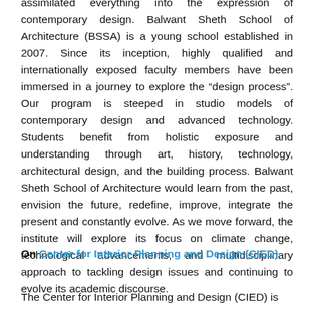assimilated everything into the expression of contemporary design. Balwant Sheth School of Architecture (BSSA) is a young school established in 2007. Since its inception, highly qualified and internationally exposed faculty members have been immersed in a journey to explore the “design process”. Our program is steeped in studio models of contemporary design and advanced technology. Students benefit from holistic exposure and understanding through art, history, technology, architectural design, and the building process. Balwant Sheth School of Architecture would learn from the past, envision the future, redefine, improve, integrate the present and constantly evolve. As we move forward, the institute will explore its focus on climate change, technological advancements, and multidisciplinary approach to tackling design issues and continuing to evolve its academic discourse.
On Center for Interior Planning and Design (CIED)
The Center for Interior Planning and Design (CIED) is